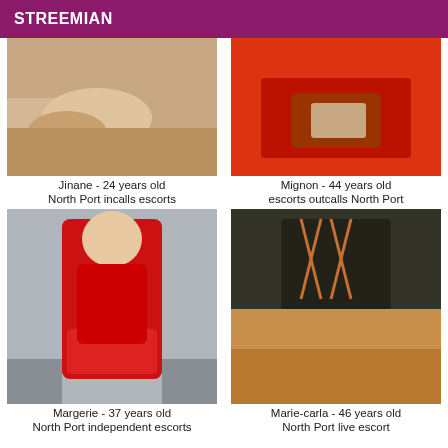STREEMIAN
[Figure (photo): Thumbnail photo of Jinane]
Jinane - 24 years old
North Port incalls escorts
[Figure (photo): Thumbnail photo of Mignon]
Mignon - 44 years old
escorts outcalls North Port
[Figure (photo): Thumbnail photo of Margerie in red dress]
Margerie - 37 years old
North Port independent escorts
[Figure (photo): Thumbnail photo of Marie-carla]
Marie-carla - 46 years old
North Port live escort